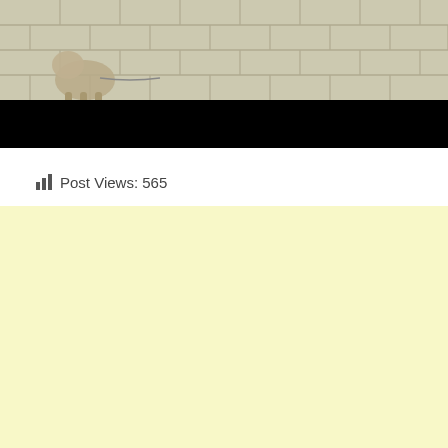[Figure (photo): A cat or dog on a tiled floor, partially visible at top. The lower portion of the image is covered by a black bar.]
Post Views: 565